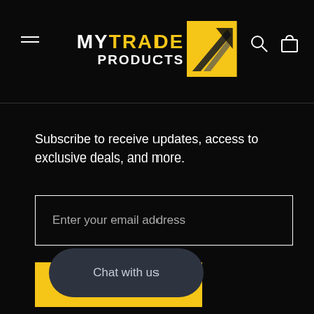[Figure (logo): MyTrade Products logo with yellow square icon containing black arrow/triangle shapes and white/yellow text]
Subscribe to receive updates, access to exclusive deals, and more.
Enter your email address
SUBSCRIBE
Chat with us